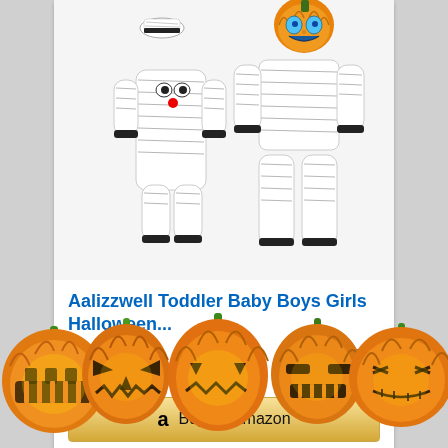[Figure (photo): Product photo showing baby mummy Halloween costumes on white background — one infant romper with hat and one toddler set with pumpkin mask]
Aalizzwell Toddler Baby Boys Girls Halloween...
✓Prime
$13.99
Buy on Amazon
[Figure (illustration): Row of Halloween jack-o-lantern pumpkins with glowing faces across the bottom of the page]